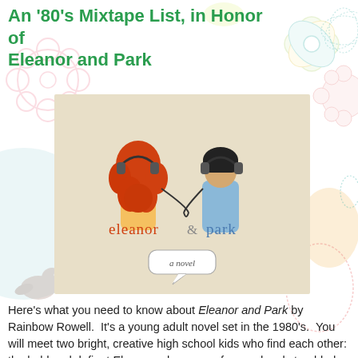An '80's Mixtape List, in Honor of Eleanor and Park
[Figure (illustration): Book cover of 'Eleanor and Park' by Rainbow Rowell. A beige/tan background with two figures seen from behind — a girl with big curly red/orange hair wearing headphones on the left, and a boy with dark hair wearing headphones on the right. A cord connects their headphones. The text reads 'eleanor & park' in red and blue lowercase letters, and 'a novel' in a speech bubble at the bottom.]
Here's what you need to know about Eleanor and Park by Rainbow Rowell. It's a young adult novel set in the 1980's. You will meet two bright, creative high school kids who find each other: the bold and defiant Eleanor, who comes from a deeply troubled family, and the sweet and sensitive Park, who comes from a loving Korean American family. You will discover fi